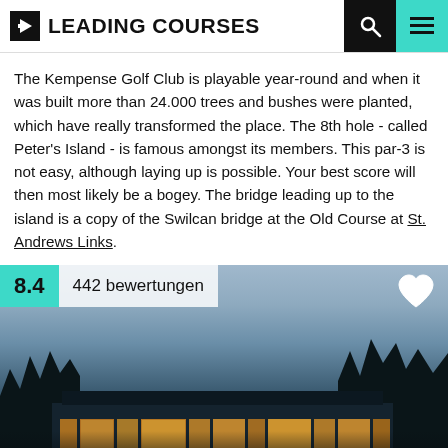LEADING COURSES
The Kempense Golf Club is playable year-round and when it was built more than 24.000 trees and bushes were planted, which have really transformed the place. The 8th hole - called Peter's Island - is famous amongst its members. This par-3 is not easy, although laying up is possible. Your best score will then most likely be a bogey. The bridge leading up to the island is a copy of the Swilcan bridge at the Old Course at St. Andrews Links.
[Figure (photo): Photo of Kempense Golf Club clubhouse at dusk with illuminated windows and trees silhouetted against evening sky. Rating overlay shows 8.4 score and 442 bewertungen (reviews). Heart/favorite icon in top right corner.]